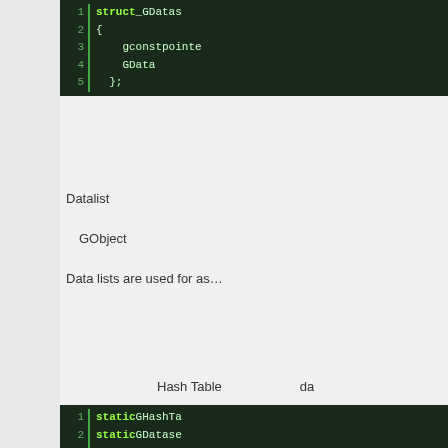[Figure (screenshot): Code block showing struct _GDatas definition with gconstpointe and GData fields]
Datalist
GObject
Data lists are used for as…
Hash Table　　　　　　da
[Figure (screenshot): Code block showing static GHashTa and static GDatase declarations]
[Figure (screenshot): Code block showing static void g_data_initiali function with g_return_if, g_dataset_lo, g_dataset_ca, closing brace]